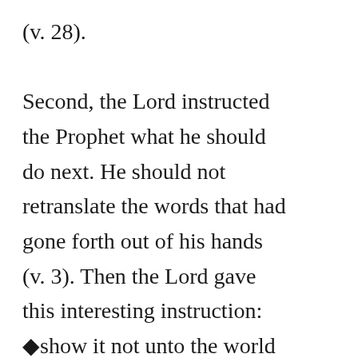(v. 28). Second, the Lord instructed the Prophet what he should do next. He should not retranslate the words that had gone forth out of his hands (v. 3). Then the Lord gave this interesting instruction: ◆show it not unto the world until you have accomplished the work of the translation◆that ye may be preserved◆ (vs. 34-35). ◆Hold your